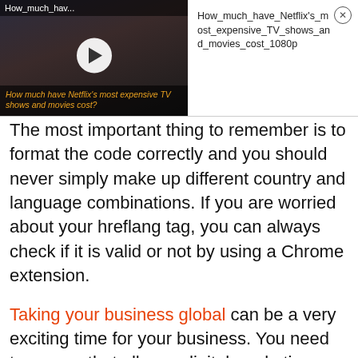[Figure (screenshot): Video thumbnail showing Netflix show with title 'How_much_hav...' and play button overlay, alongside filename text 'How_much_have_Netflix's_most_expensive_TV_shows_and_movies_cost_1080p' with a close button]
The most important thing to remember is to format the code correctly and you should never simply make up different country and language combinations. If you are worried about your hreflang tag, you can always check if it is valid or not by using a Chrome extension.
Taking your business global can be a very exciting time for your business. You need to ensure that all your digital marketing efforts reflect that of your new global business. SEO is a very...